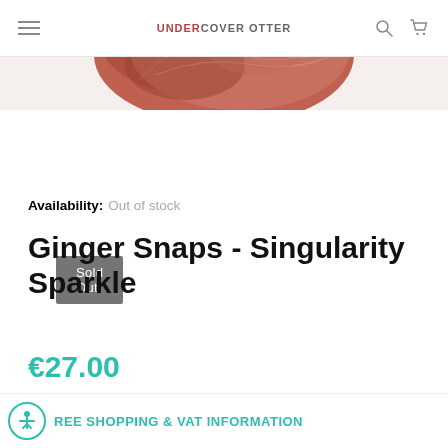UNDERCOVER OTTER
[Figure (photo): Skein of reddish-brown/terracotta yarn photographed from above, partially visible at top of page]
Sold Out
Availability: Out of stock
Ginger Snaps - Singularity Sparkle
€27.00
REE SHOPPING & VAT INFORMATION